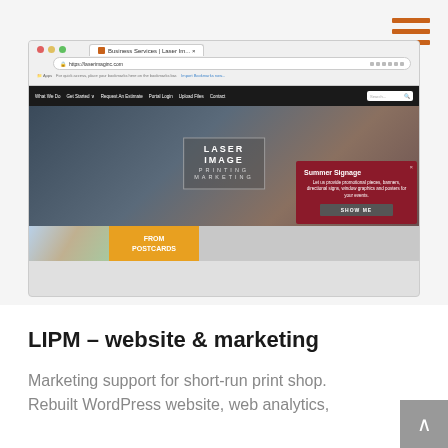[Figure (screenshot): Browser screenshot of Laser Image Printing & Marketing website (laserimaginc.com) showing the homepage with navigation bar, hero image with company logo overlay, Summer Signage promotional popup, and bottom strip with color swatches and FROM POSTCARDS yellow banner.]
LIPM – website & marketing
Marketing support for short-run print shop. Rebuilt WordPress website, web analytics,